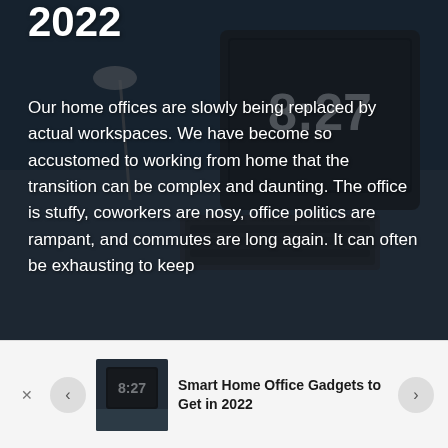[Figure (photo): Dark background hero image showing a home office desk with a laptop/monitor displaying 8:27, keyboard, and lamp, with dark overlay]
2022
Our home offices are slowly being replaced by actual workspaces. We have become so accustomed to working from home that the transition can be complex and daunting. The office is stuffy, coworkers are nosy, office politics are rampant, and commutes are long again. It can often be exhausting to keep
CONTINUE READING>
[Figure (photo): Thumbnail image of home office with clock showing 8:27]
Smart Home Office Gadgets to Get in 2022